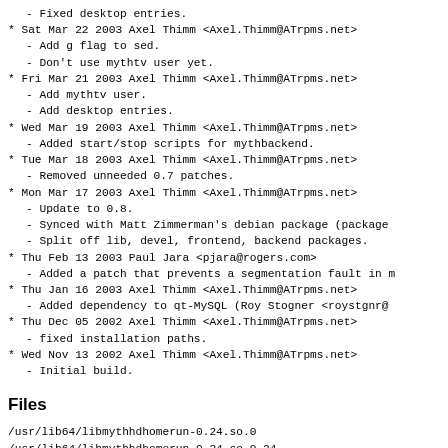- Fixed desktop entries.
* Sat Mar 22 2003 Axel Thimm <Axel.Thimm@ATrpms.net>
  - Add g flag to sed.
  - Don't use mythtv user yet.
* Fri Mar 21 2003 Axel Thimm <Axel.Thimm@ATrpms.net>
  - Add mythtv user.
  - Add desktop entries.
* Wed Mar 19 2003 Axel Thimm <Axel.Thimm@ATrpms.net>
  - Added start/stop scripts for mythbackend.
* Tue Mar 18 2003 Axel Thimm <Axel.Thimm@ATrpms.net>
  - Removed unneeded 0.7 patches.
* Mon Mar 17 2003 Axel Thimm <Axel.Thimm@ATrpms.net>
  - Update to 0.8.
  - Synced with Matt Zimmerman's debian package (package
  - Split off lib, devel, frontend, backend packages.
* Thu Feb 13 2003 Paul Jara <pjara@rogers.com>
  - Added a patch that prevents a segmentation fault in m
* Thu Jan 16 2003 Axel Thimm <Axel.Thimm@ATrpms.net>
  - Added dependency to qt-MySQL (Roy Stogner <roystgnr@
* Thu Dec 05 2002 Axel Thimm <Axel.Thimm@ATrpms.net>
  - fixed installation paths.
* Wed Nov 13 2002 Axel Thimm <Axel.Thimm@ATrpms.net>
  - Initial build.
Files
/usr/lib64/libmythhdhomerun-0.24.so.0
/usr/lib64/libmythhdhomerun-0.24.so.0.24